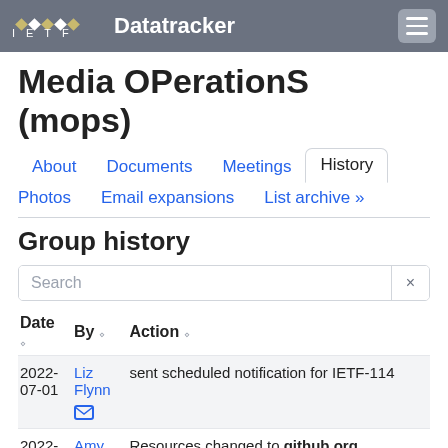IETF Datatracker
Media OPerationS (mops)
Group history
| Date | By | Action |
| --- | --- | --- |
| 2022-07-01 | Liz Flynn | sent scheduled notification for IETF-114 |
| 2022-05-04 | Amy K. Vezza | Resources changed to github.org https://github |